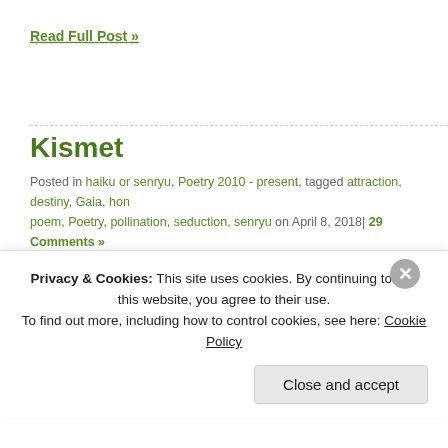Read Full Post »
Kismet
Posted in haiku or senryu, Poetry 2010 - present, tagged attraction, destiny, Gaia, hon poem, Poetry, pollination, seduction, senryu on April 8, 2018| 29 Comments »
[Figure (photo): Close-up photo of bright pink flowers with a bee, vibrant magenta petals]
Privacy & Cookies: This site uses cookies. By continuing to use this website, you agree to their use. To find out more, including how to control cookies, see here: Cookie Policy
Close and accept